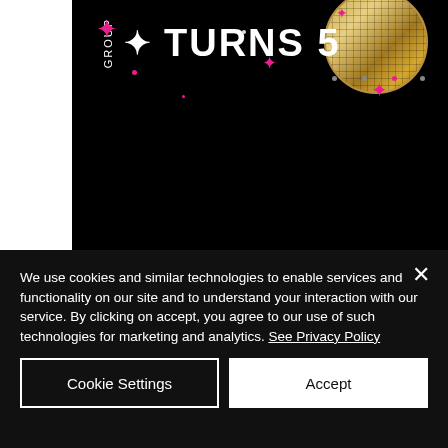[Figure (photo): Dark promotional image on black background showing text '[group] TURNS 5' with pink confetti/star shapes scattered around and a gold disco ball in the upper right corner. Left and right white margins visible.]
We use cookies and similar technologies to enable services and functionality on our site and to understand your interaction with our service. By clicking on accept, you agree to our use of such technologies for marketing and analytics. See Privacy Policy
Cookie Settings
Accept